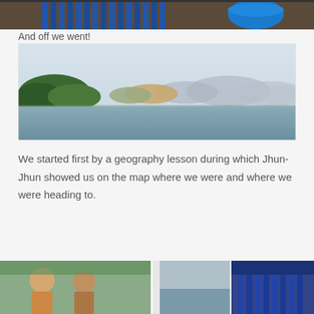[Figure (photo): Top portion of a photo showing blue boat seats/benches and a blue container on a wicker surface]
And off we went!
[Figure (photo): Wide landscape photo showing a calm lake or reservoir with rolling hills and mountains in the background under a hazy sky]
We started first by a geography lesson during which Jhun-Jhun showed us on the map where we were and where we were heading to.
[Figure (photo): Bottom strip showing multiple photos side by side: people on a boat and blue boat elements]